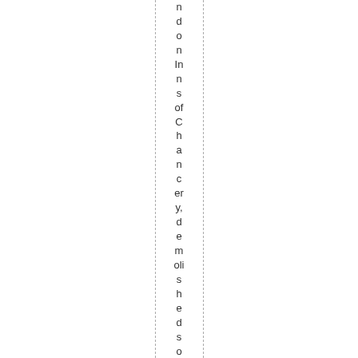n d o n In n s of Ch an c er y, de m oli s h e d s o o n af te r